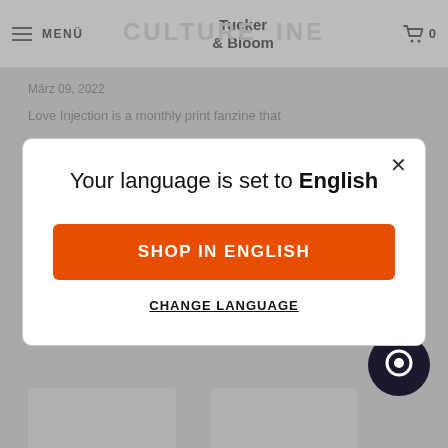MENÜ  Tucker & Bloom  0
März 09, 2022
Love Injection is a monthly print fanzine that
Your language is set to English
SHOP IN ENGLISH
CHANGE LANGUAGE
RECORD BAGS